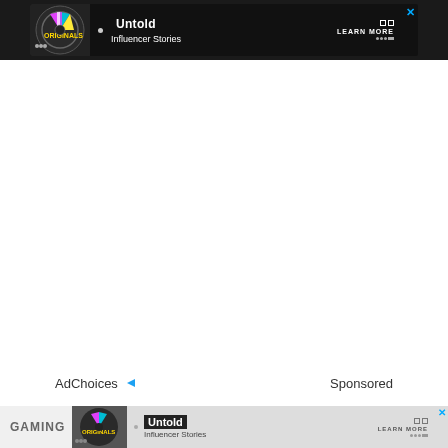[Figure (screenshot): Top advertisement banner for 'Untold Influencer Stories' with dark background, circular logo graphic on left, bullet point, 'Untold' text in black box, 'Influencer Stories' subtitle, 'LEARN MORE' text on right, and blue X close button]
AdChoices  Sponsored
[Figure (screenshot): Bottom advertisement banner (partial) for 'Untold Influencer Stories' similar to top banner, with 'GAMING' label partially visible on the left]